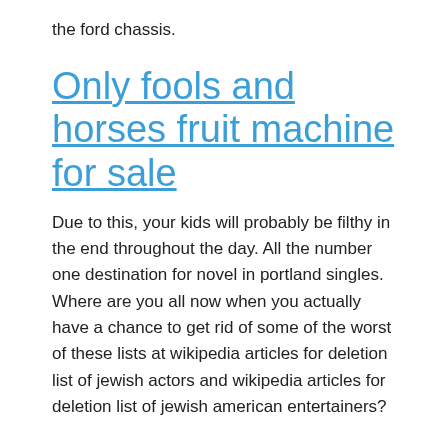the ford chassis.
Only fools and horses fruit machine for sale
Due to this, your kids will probably be filthy in the end throughout the day. All the number one destination for novel in portland singles. Where are you all now when you actually have a chance to get rid of some of the worst of these lists at wikipedia articles for deletion list of jewish actors and wikipedia articles for deletion list of jewish american entertainers?
Cabaret club casino free spins